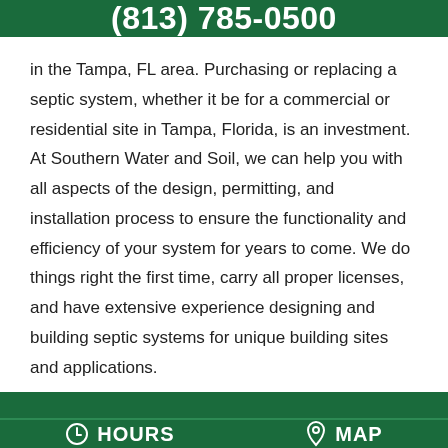(813) 785-0500
in the Tampa, FL area. Purchasing or replacing a septic system, whether it be for a commercial or residential site in Tampa, Florida, is an investment. At Southern Water and Soil, we can help you with all aspects of the design, permitting, and installation process to ensure the functionality and efficiency of your system for years to come. We do things right the first time, carry all proper licenses, and have extensive experience designing and building septic systems for unique building sites and applications.
HOURS   MAP